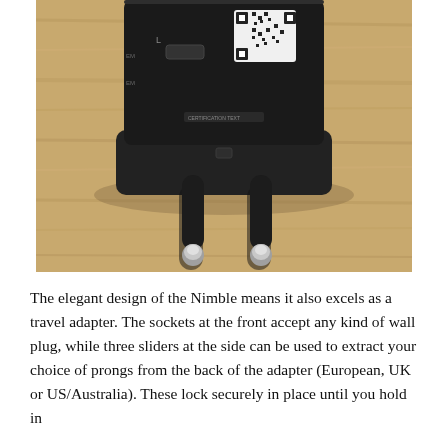[Figure (photo): Close-up photograph of a black travel power adapter lying on a wood surface, viewed from below, showing two round European-style metal plug prongs extending downward, and the top face showing L/N socket slots and a QR code sticker.]
The elegant design of the Nimble means it also excels as a travel adapter. The sockets at the front accept any kind of wall plug, while three sliders at the side can be used to extract your choice of prongs from the back of the adapter (European, UK or US/Australia). These lock securely in place until you hold in